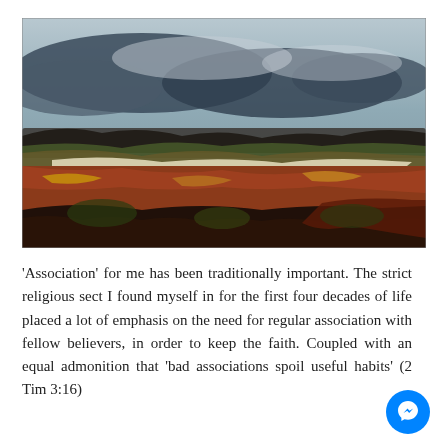[Figure (illustration): An expressionist oil painting landscape with dark stormy sky and warm autumnal earthy tones — ochres, reds, browns and muted greens — depicting a rugged moorland or open countryside scene.]
'Association' for me has been traditionally important. The strict religious sect I found myself in for the first four decades of life placed a lot of emphasis on the need for regular association with fellow believers, in order to keep the faith. Coupled with an equal admonition that 'bad associations spoil useful habits' (2 Tim 3:16)